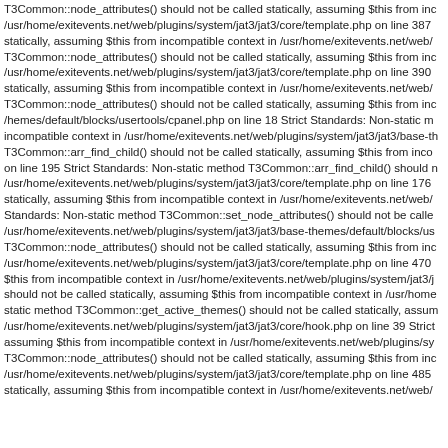T3Common::node_attributes() should not be called statically, assuming $this from incompatible context in /usr/home/exitevents.net/web/plugins/system/jat3/jat3/core/template.php on line 387 statically, assuming $this from incompatible context in /usr/home/exitevents.net/web/ T3Common::node_attributes() should not be called statically, assuming $this from incompatible context in /usr/home/exitevents.net/web/plugins/system/jat3/jat3/core/template.php on line 390 statically, assuming $this from incompatible context in /usr/home/exitevents.net/web/ T3Common::node_attributes() should not be called statically, assuming $this from incompatible context in /usr/home/exitevents.net/web/plugins/system/jat3/jat3/base-themes/default/blocks/usertools/cpanel.php on line 18 Strict Standards: Non-static method incompatible context in /usr/home/exitevents.net/web/plugins/system/jat3/jat3/base-themes/ T3Common::arr_find_child() should not be called statically, assuming $this from incompatible context on line 195 Strict Standards: Non-static method T3Common::arr_find_child() should not be called statically, assuming $this from incompatible context in /usr/home/exitevents.net/web/plugins/system/jat3/jat3/core/template.php on line 176 statically, assuming $this from incompatible context in /usr/home/exitevents.net/web/ Standards: Non-static method T3Common::set_node_attributes() should not be called statically, assuming $this from incompatible context in /usr/home/exitevents.net/web/plugins/system/jat3/jat3/base-themes/default/blocks/us T3Common::node_attributes() should not be called statically, assuming $this from incompatible context in /usr/home/exitevents.net/web/plugins/system/jat3/jat3/core/template.php on line 470 $this from incompatible context in /usr/home/exitevents.net/web/plugins/system/jat3/j should not be called statically, assuming $this from incompatible context in /usr/home/ static method T3Common::get_active_themes() should not be called statically, assuming $this from incompatible context in /usr/home/exitevents.net/web/plugins/system/jat3/jat3/core/hook.php on line 39 Strict assuming $this from incompatible context in /usr/home/exitevents.net/web/plugins/sy T3Common::node_attributes() should not be called statically, assuming $this from incompatible context in /usr/home/exitevents.net/web/plugins/system/jat3/jat3/core/template.php on line 485 statically, assuming $this from incompatible context in /usr/home/exitevents.net/web/